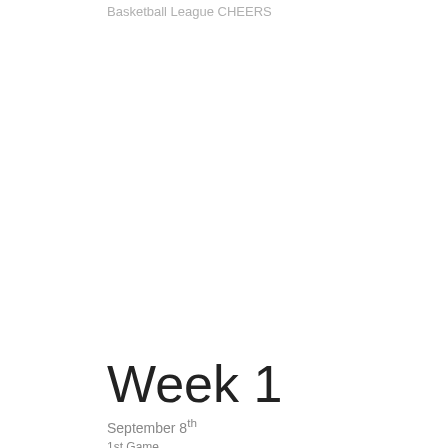Basketball League CHEERS
Week 1
September 8th
1st Game
5:50PM
All Mixed Up  VS.  HHB
Color scheme:
Acme uniforms: